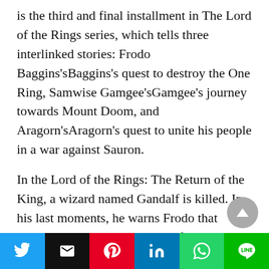is the third and final installment in The Lord of the Rings series, which tells three interlinked stories: Frodo Baggins'sBaggins's quest to destroy the One Ring, Samwise Gamgee'sGamgee's journey towards Mount Doom, and Aragorn'sAragorn's quest to unite his people in a war against Sauron.
In the Lord of the Rings: The Return of the King, a wizard named Gandalf is killed. In his last moments, he warns Frodo that Sauron has returned an army of orcs and other servants with him. The movie ends with Frodo, Sam, and Gollum leaving for Mount Doom to destroy the One Ring.
Lord of the Rings and The